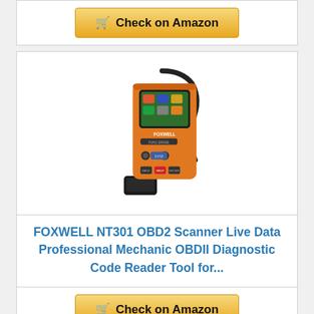[Figure (other): Amazon 'Check on Amazon' button with shopping cart icon (top)]
[Figure (photo): FOXWELL NT301 OBD2 Scanner device - orange and black handheld diagnostic tool with color screen and keypad, with cable]
FOXWELL NT301 OBD2 Scanner Live Data Professional Mechanic OBDII Diagnostic Code Reader Tool for...
[Figure (other): Amazon 'Check on Amazon' button with shopping cart icon (bottom)]
[Figure (other): Partial card at bottom of page]